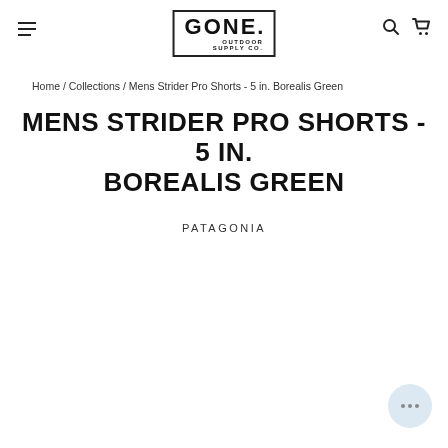GONE. OUTDOOR SUPPLY CO.
Home / Collections / Mens Strider Pro Shorts - 5 in. Borealis Green
MENS STRIDER PRO SHORTS - 5 IN. BOREALIS GREEN
PATAGONIA